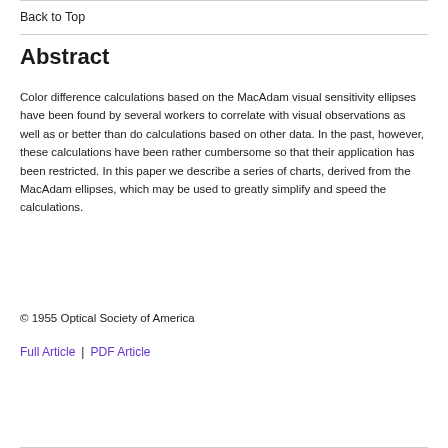Back to Top
Abstract
Color difference calculations based on the MacAdam visual sensitivity ellipses have been found by several workers to correlate with visual observations as well as or better than do calculations based on other data. In the past, however, these calculations have been rather cumbersome so that their application has been restricted. In this paper we describe a series of charts, derived from the MacAdam ellipses, which may be used to greatly simplify and speed the calculations.
© 1955 Optical Society of America
Full Article  |  PDF Article